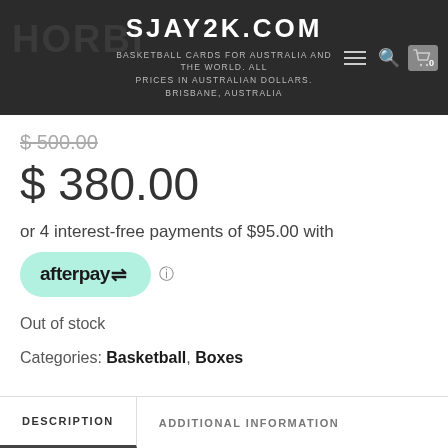SJAY2K.COM — BASKETBALL CARDS FOR AUSTRALIA AND THE WORLD. ALL PRICES IN AUSTRALIAN DOLLARS. BRISBANE, AUSTRALIA
$ 500.00 (strikethrough)
$ 380.00
or 4 interest-free payments of $95.00 with
[Figure (logo): Afterpay logo on teal/mint rounded pill button]
Out of stock
Categories: Basketball, Boxes
DESCRIPTION | ADDITIONAL INFORMATION (tab bar)